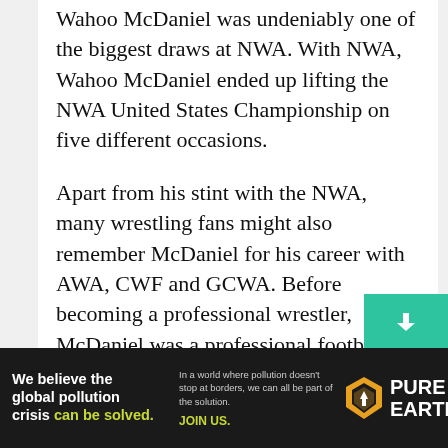Wahoo McDaniel was undeniably one of the biggest draws at NWA. With NWA, Wahoo McDaniel ended up lifting the NWA United States Championship on five different occasions.
Apart from his stint with the NWA, many wrestling fans might also remember McDaniel for his career with AWA, CWF and GCWA. Before becoming a professional wrestler, McDaniel was a professional football player.
In 1960, McDaniel began his professional football career with the Houston Oilers during their championship-winning season. After his debut season, McDaniel signed with the De...
[Figure (infographic): Advertisement banner for Pure Earth: 'We believe the global pollution crisis can be solved.' with Pure Earth logo featuring a diamond-shaped icon with a downward arrow.]